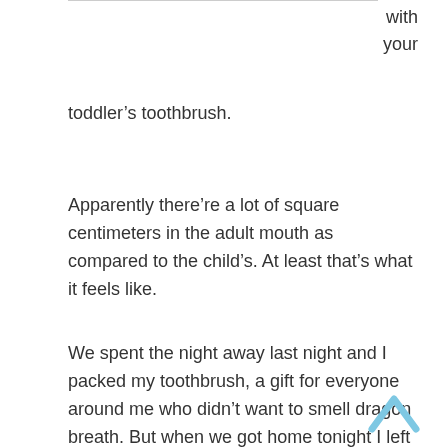with your
toddler’s toothbrush.
Apparently there’re a lot of square centimeters in the adult mouth as compared to the child’s. At least that’s what it feels like.
We spent the night away last night and I packed my toothbrush, a gift for everyone around me who didn’t want to smell dragon breath. But when we got home tonight I left the overnight bag in the car and I’m took lazy and cold to go outside and get it if there’s another option available.